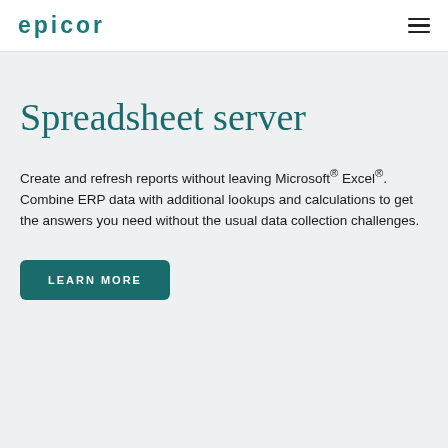EPICOR
Spreadsheet server
Create and refresh reports without leaving Microsoft® Excel®. Combine ERP data with additional lookups and calculations to get the answers you need without the usual data collection challenges.
LEARN MORE